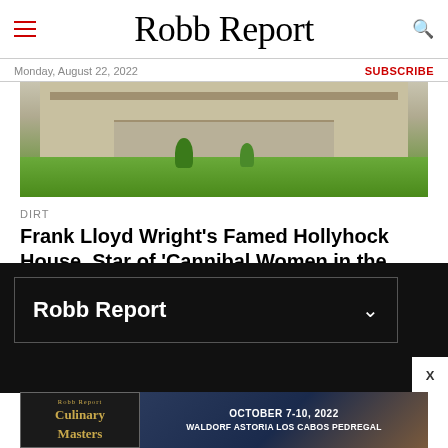Robb Report
Monday, August 22, 2022
SUBSCRIBE
[Figure (photo): Exterior photo of Frank Lloyd Wright's Hollyhock House, a low-profile stone/concrete building with green lawn and trees in foreground]
DIRT
Frank Lloyd Wright's Famed Hollyhock House, Star of 'Cannibal Women in the Avocado Jungle of Death,' Reopens to Much Fanfare
[Figure (screenshot): Dark panel with 'Robb Report' subscription box with chevron dropdown and close button]
[Figure (photo): Advertisement for Robb Report Culinary Masters event, October 7-10 2022, Waldorf Astoria Los Cabos Pedregal]